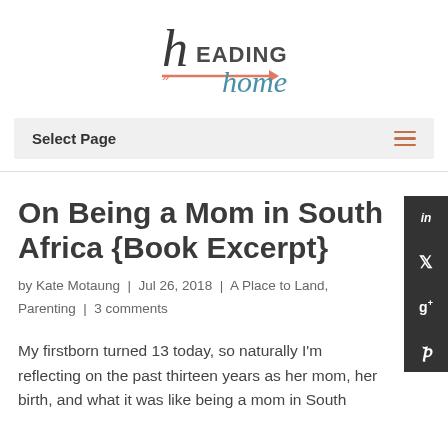[Figure (logo): Heading Home blog logo with script and sans-serif text, orange arrow decoration]
Select Page
On Being a Mom in South Africa {Book Excerpt}
by Kate Motaung | Jul 26, 2018 | A Place to Land, Parenting | 3 comments
My firstborn turned 13 today, so naturally I'm reflecting on the past thirteen years as her mom, her birth, and what it was like being a mom in South